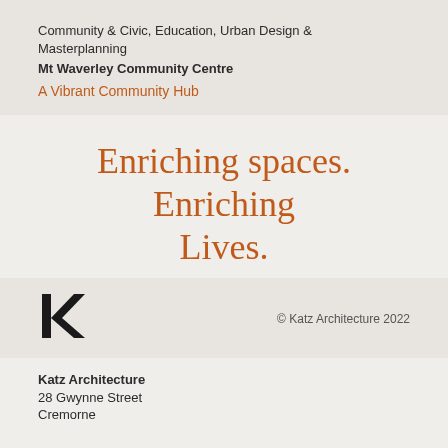Community & Civic, Education, Urban Design & Masterplanning
Mt Waverley Community Centre
A Vibrant Community Hub
Enriching spaces. Enriching Lives.
Get in touch
[Figure (logo): Katz Architecture logo — stylized lowercase 'ka' in black]
© Katz Architecture 2022
Katz Architecture
28 Gwynne Street
Cremorne